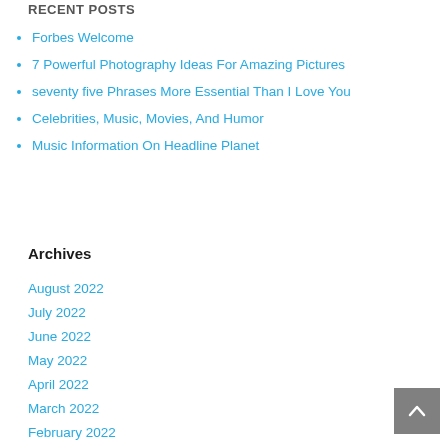RECENT POSTS
Forbes Welcome
7 Powerful Photography Ideas For Amazing Pictures
seventy five Phrases More Essential Than I Love You
Celebrities, Music, Movies, And Humor
Music Information On Headline Planet
Archives
August 2022
July 2022
June 2022
May 2022
April 2022
March 2022
February 2022